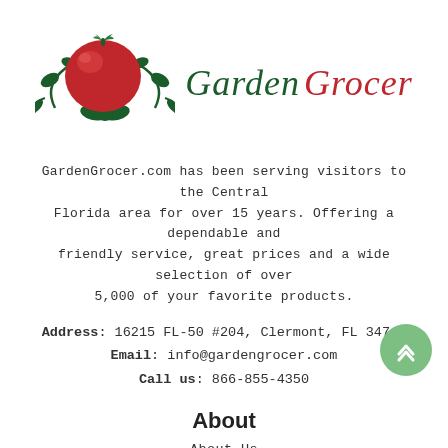[Figure (logo): Garden Grocer logo: red tomato with green vines and leaves, text 'Garden Grocer' in italic green and red script]
GardenGrocer.com has been serving visitors to the Central Florida area for over 15 years. Offering a dependable and friendly service, great prices and a wide selection of over 5,000 of your favorite products.
Address: 16215 FL-50 #204, Clermont, FL 34711
Email: info@gardengrocer.com
Call us: 866-855-4350
About
About Us
Resorts We Deliver To
Testimonials
Request an Item